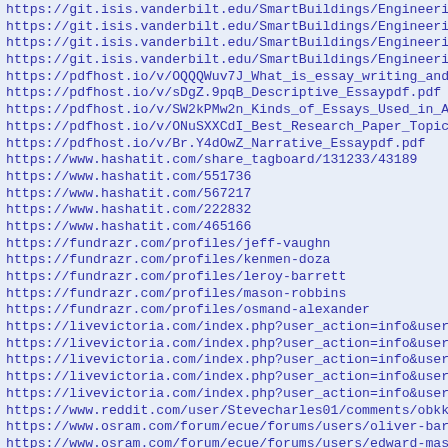https://git.isis.vanderbilt.edu/SmartBuildings/EngineeringS
https://git.isis.vanderbilt.edu/SmartBuildings/EngineeringS
https://git.isis.vanderbilt.edu/SmartBuildings/EngineeringS
https://git.isis.vanderbilt.edu/SmartBuildings/EngineeringS
https://pdfhost.io/v/OQQQWuv7J_What_is_essay_writing_and_it
https://pdfhost.io/v/sDgZ.9pqB_Descriptive_Essaypdf.pdf
https://pdfhost.io/v/SW2kPMw2n_Kinds_of_Essays_Used_in_Acad
https://pdfhost.io/v/ONuSXXCdI_Best_Research_Paper_Topics_F
https://pdfhost.io/v/Br.Y4dOwZ_Narrative_Essaypdf.pdf
https://www.hashatit.com/share_tagboard/131233/43189
https://www.hashatit.com/551736
https://www.hashatit.com/567217
https://www.hashatit.com/222832
https://www.hashatit.com/465166
https://fundrazr.com/profiles/jeff-vaughn
https://fundrazr.com/profiles/kenmen-doza
https://fundrazr.com/profiles/leroy-barrett
https://fundrazr.com/profiles/mason-robbins
https://fundrazr.com/profiles/osmand-alexander
https://livevictoria.com/index.php?user_action=info&userid=
https://livevictoria.com/index.php?user_action=info&userid=
https://livevictoria.com/index.php?user_action=info&userid=
https://livevictoria.com/index.php?user_action=info&userid=
https://livevictoria.com/index.php?user_action=info&userid=
https://www.reddit.com/user/Stevecharles01/comments/obkkmx/
https://www.osram.com/forum/ecue/forums/users/oliver-barry/
https://www.osram.com/forum/ecue/forums/users/edward-mason/
https://www.osram.com/forum/ecue/forums/users/william-ron/
https://www.osram.com/forum/ecue/forums/users/larry-andrew/
https://www.osram.com/forum/ecue/forums/users/michael-he